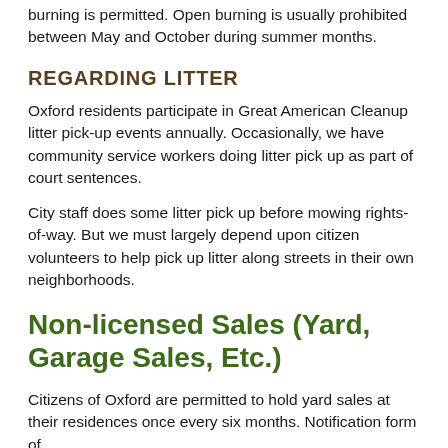burning is permitted. Open burning is usually prohibited between May and October during summer months.
REGARDING LITTER
Oxford residents participate in Great American Cleanup litter pick-up events annually. Occasionally, we have community service workers doing litter pick up as part of court sentences.
City staff does some litter pick up before mowing rights-of-way. But we must largely depend upon citizen volunteers to help pick up litter along streets in their own neighborhoods.
Non-licensed Sales (Yard, Garage Sales, Etc.)
Citizens of Oxford are permitted to hold yard sales at their residences once every six months. Notification form of